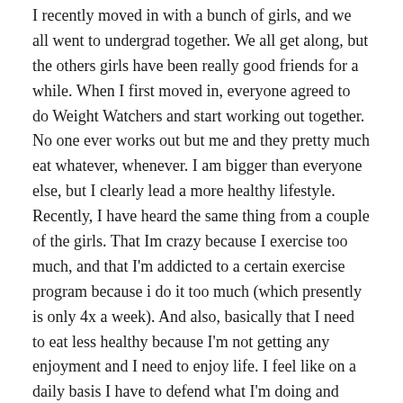I recently moved in with a bunch of girls, and we all went to undergrad together. We all get along, but the others girls have been really good friends for a while. When I first moved in, everyone agreed to do Weight Watchers and start working out together. No one ever works out but me and they pretty much eat whatever, whenever. I am bigger than everyone else, but I clearly lead a more healthy lifestyle.
Recently, I have heard the same thing from a couple of the girls. That Im crazy because I exercise too much, and that I'm addicted to a certain exercise program because i do it too much (which presently is only 4x a week). And also, basically that I need to eat less healthy because I'm not getting any enjoyment and I need to enjoy life. I feel like on a daily basis I have to defend what I'm doing and justify how important my health is.
Now admittedly, I recently have realized that my weightloss journey has become depressing and that I need to focus more on